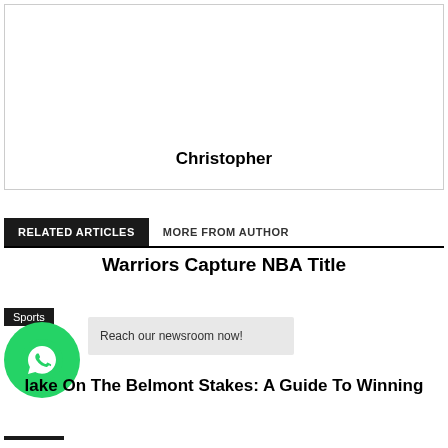Christopher
RELATED ARTICLES   MORE FROM AUTHOR
Warriors Capture NBA Title
Sports
Reach our newsroom now!
lake On The Belmont Stakes: A Guide To Winning